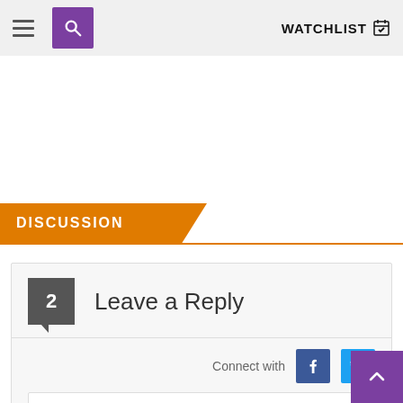WATCHLIST
DISCUSSION
2 Leave a Reply
Connect with
Join the discussion...